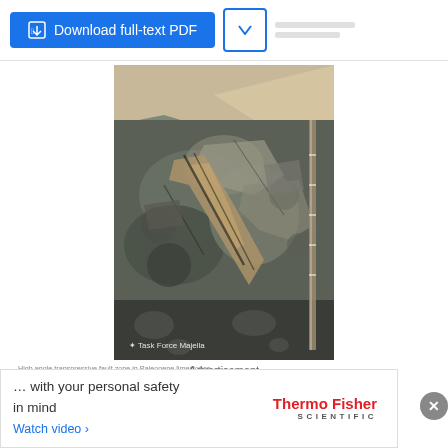[Figure (other): Download full-text PDF button and dropdown on a ResearchGate page interface]
[Figure (photo): High angle transpressive fault zone in Paleogene limestone. Photograph shows fractured and brecciated rock outcrop with a measuring rod on the right side, labeled Task Force Majella at the bottom.]
High angle transpressive fault zone in Paleogene limestones. Localite (1.1): Rifugio Bruno Pomilio. Direction: 090°
[Figure (other): Thermo Fisher Scientific advertisement banner with text '... with your personal safety in mind' and 'Watch video ›']